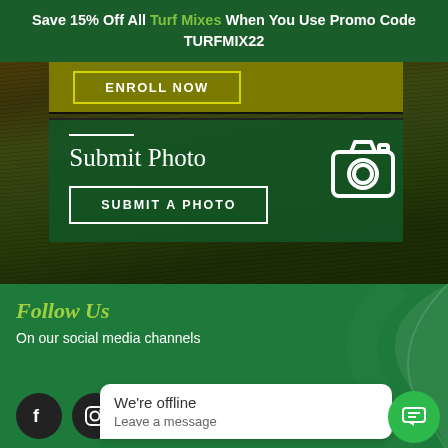Save 15% Off All Turf Mixes When You Use Promo Code TURFMIX22
[Figure (screenshot): Website screenshot showing a grass background with a yellow-green bar at top containing an 'ENROLL NOW' button, and a dark green 'Submit Photo' card with a camera icon and 'SUBMIT A PHOTO' button]
Follow Us
On our social media channels
[Figure (screenshot): Social media icons: Facebook, Instagram, YouTube on dark circular backgrounds]
We're offline
Leave a message